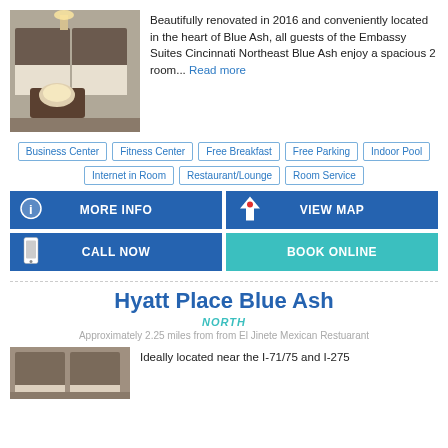[Figure (photo): Hotel room with beds and breakfast tray]
Beautifully renovated in 2016 and conveniently located in the heart of Blue Ash, all guests of the Embassy Suites Cincinnati Northeast Blue Ash enjoy a spacious 2 room... Read more
Business Center
Fitness Center
Free Breakfast
Free Parking
Indoor Pool
Internet in Room
Restaurant/Lounge
Room Service
MORE INFO
VIEW MAP
CALL NOW
BOOK ONLINE
Hyatt Place Blue Ash
NORTH
Approximately 2.25 miles from from El Jinete Mexican Restuarant
[Figure (photo): Hotel interior photo]
Ideally located near the I-71/75 and I-275